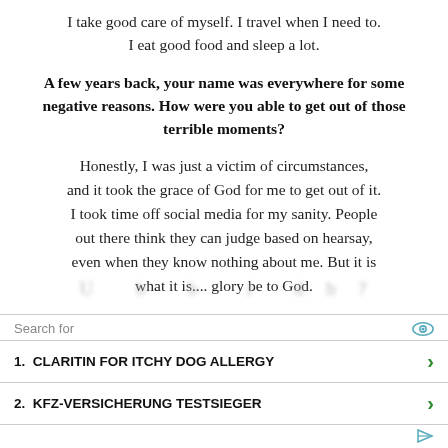I take good care of myself. I travel when I need to. I eat good food and sleep a lot.
A few years back, your name was everywhere for some negative reasons. How were you able to get out of those terrible moments?
Honestly, I was just a victim of circumstances, and it took the grace of God for me to get out of it. I took time off social media for my sanity. People out there think they can judge based on hearsay, even when they know nothing about me. But it is what it is.... glory be to God.
Search for
1.  CLARITIN FOR ITCHY DOG ALLERGY
2.  KFZ-VERSICHERUNG TESTSIEGER